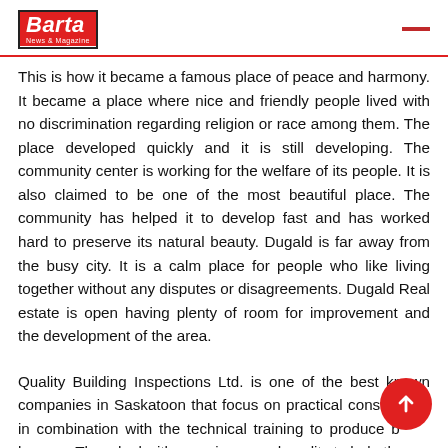Barta News & Magazine
This is how it became a famous place of peace and harmony. It became a place where nice and friendly people lived with no discrimination regarding religion or race among them. The place developed quickly and it is still developing. The community center is working for the welfare of its people. It is also claimed to be one of the most beautiful place. The community has helped it to develop fast and has worked hard to preserve its natural beauty. Dugald is far away from the busy city. It is a calm place for people who like living together without any disputes or disagreements. Dugald Real estate is open having plenty of room for improvement and the development of the area.
Quality Building Inspections Ltd. is one of the best known companies in Saskatoon that focus on practical construction in combination with the technical training to produce better houses. They deal with experience and quality to help the...